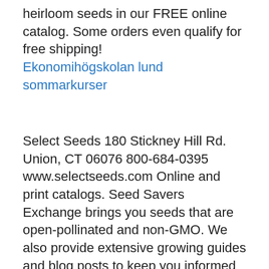heirloom seeds in our FREE online catalog. Some orders even qualify for free shipping!
Ekonomihögskolan lund sommarkurser
Select Seeds 180 Stickney Hill Rd. Union, CT 06076 800-684-0395 www.selectseeds.com Online and print catalogs. Seed Savers Exchange brings you seeds that are open-pollinated and non-GMO. We also provide extensive growing guides and blog posts to keep you informed of new techniques and happenings in the garden world.
It was all done through mail order retail. You just ordered a free catalog from your favorite store, ordered the things you Our favorite mail-order catalogs open their gardens to visitors during the growing season, from CountryLiving.com Country